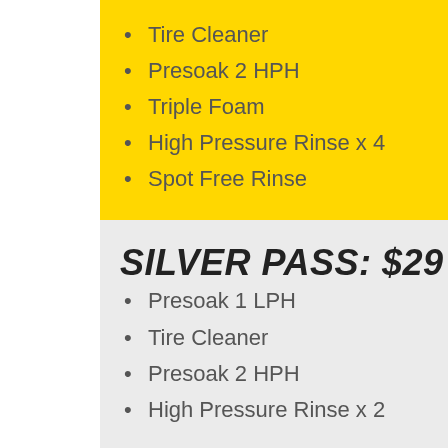Tire Cleaner
Presoak 2 HPH
Triple Foam
High Pressure Rinse x 4
Spot Free Rinse
SILVER PASS: $29
Presoak 1 LPH
Tire Cleaner
Presoak 2 HPH
High Pressure Rinse x 2